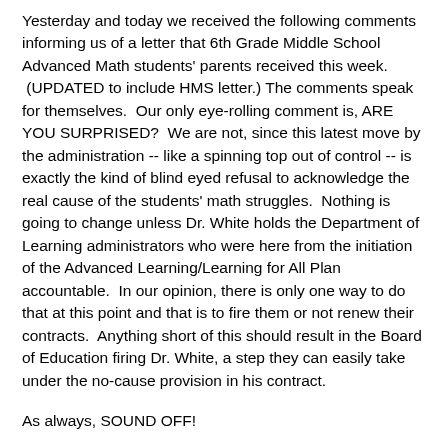Yesterday and today we received the following comments informing us of a letter that 6th Grade Middle School Advanced Math students' parents received this week.  (UPDATED to include HMS letter.) The comments speak for themselves.  Our only eye-rolling comment is, ARE YOU SURPRISED?  We are not, since this latest move by the administration -- like a spinning top out of control -- is exactly the kind of blind eyed refusal to acknowledge the real cause of the students' math struggles.  Nothing is going to change unless Dr. White holds the Department of Learning administrators who were here from the initiation of the Advanced Learning/Learning for All Plan accountable.  In our opinion, there is only one way to do that at this point and that is to fire them or not renew their contracts.  Anything short of this should result in the Board of Education firing Dr. White, a step they can easily take under the no-cause provision in his contract.
As always, SOUND OFF!
COMMENTS OF THE DAY: